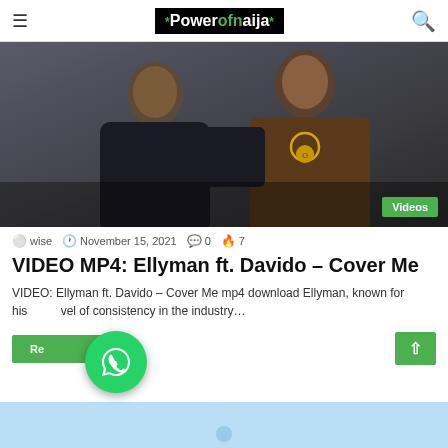Powerofnaija
[Figure (photo): Two male musicians posed together, one in black clothing and one in a brown jacket with gold chain necklace. A green 'Videos' badge is visible in the bottom right corner of the image.]
wise  November 15, 2021  0  7
VIDEO MP4: Ellyman ft. Davido – Cover Me
VIDEO: Ellyman ft. Davido – Cover Me mp4 download Ellyman, known for his level of consistency in the industry…
[Figure (other): WhatsApp floating action button (green circle with WhatsApp logo)]
[Figure (photo): Partial view of another article preview at the bottom of the page, light blue background]